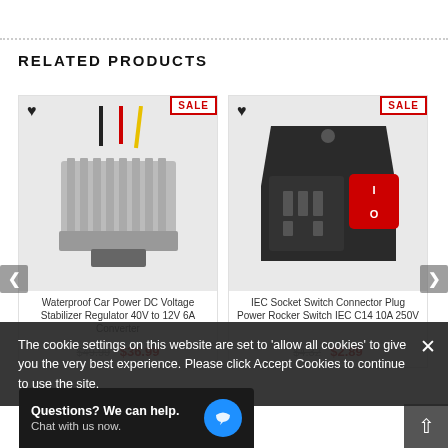RELATED PRODUCTS
[Figure (photo): Waterproof Car Power DC Voltage Stabilizer Regulator, 40V to 12V 6A converter product photo with SALE badge]
Waterproof Car Power DC Voltage Stabilizer Regulator 40V to 12V 6A Converter
$49.99  $36.99
[Figure (photo): IEC Socket Switch Connector Plug Power Rocker Switch IEC C14 10A 250V product photo with SALE badge]
IEC Socket Switch Connector Plug Power Rocker Switch IEC C14 10A 250V
$4.32  $2.89
The cookie settings on this website are set to 'allow all cookies' to give you the very best experience. Please click Accept Cookies to continue to use the site.
Questions? We can help.
Chat with us now.